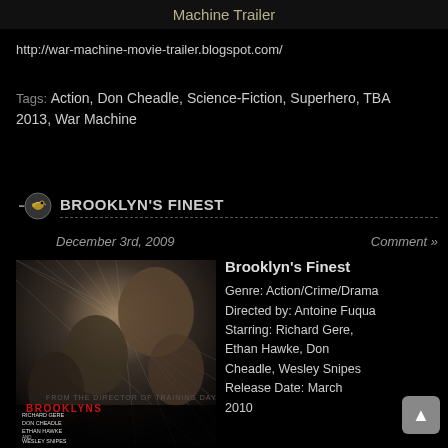Machine Trailer
http://war-machine-movie-trailer.blogspot.com/
Tags: Action, Don Cheadle, Science-Fiction, Superhero, TBA 2013, War Machine
BROOKLYN'S FINEST
December 3rd, 2009
Comment »
[Figure (photo): Movie poster for Brooklyn's Finest showing faces of actors against dark background with grid-like overlay, cast names including Richard Gere, Don Cheadle, Ethan Hawke, Wesley Snipes at bottom]
Brooklyn's Finest
Genre: Action/Crime/Drama
Directed by: Antoine Fuqua
Starring: Richard Gere, Ethan Hawke, Don Cheadle, Wesley Snipes
Release Date: March 2010